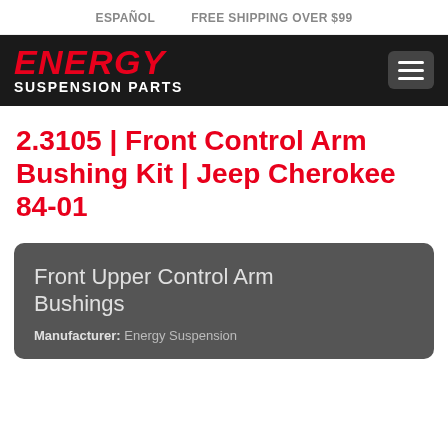ESPAÑOL   FREE SHIPPING OVER $99
ENERGY SUSPENSION PARTS
2.3105 | Front Control Arm Bushing Kit | Jeep Cherokee 84-01
Front Upper Control Arm Bushings
Manufacturer: Energy Suspension